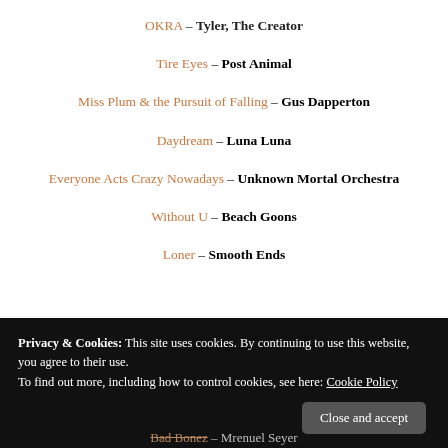OKRA – Tyler, The Creator
Tire Eyes – Post Animal
Miss Plum & the Pursuit of Falling – Gus Dapperton
Daydream – Luna Luna
Everyone Acts Crazy Nowadays – Unknown Mortal Orchestra
Without U – Beach Goons
Loner – Smooth Ends
Privacy & Cookies: This site uses cookies. By continuing to use this website, you agree to their use. To find out more, including how to control cookies, see here: Cookie Policy
Bad Bonez – Mrenuel Seyer